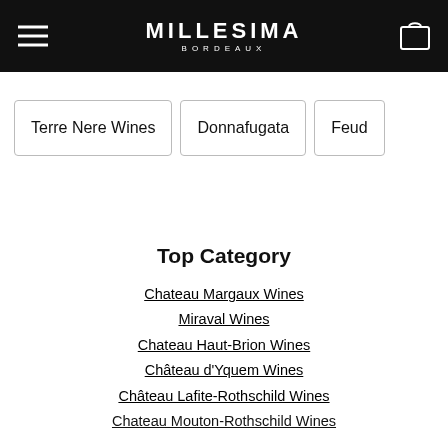MILLESIMA BORDEAUX
Terre Nere Wines
Donnafugata
Feud
Top Category
Chateau Margaux Wines
Miraval Wines
Chateau Haut-Brion Wines
Château d'Yquem Wines
Château Lafite-Rothschild Wines
Chateau Mouton-Rothschild Wines